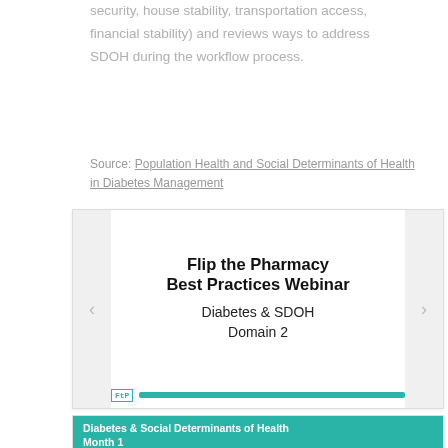security, house stability, transportation access, financial stability) and reviews ways to address SDOH during the workflow process.
Source: Population Health and Social Determinants of Health in Diabetes Management
[Figure (screenshot): Webinar slide preview showing 'Flip the Pharmacy Best Practices Webinar – Diabetes & SDOH Domain 2' with navigation arrows and teal footer bar with FtP logo]
[Figure (screenshot): Second slide preview with teal header 'Diabetes & Social Determinants of Health Month 1']